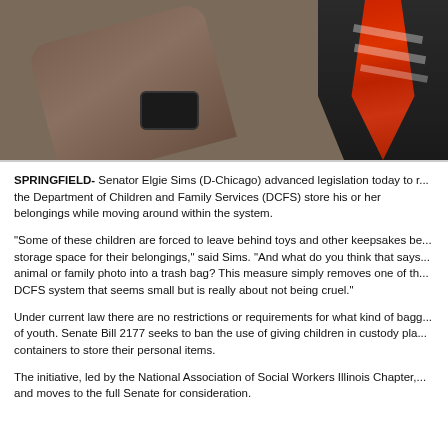[Figure (photo): Close-up photo of a person's hand/wrist with a dark watch, wearing a dark suit and red striped tie in the background.]
SPRINGFIELD- Senator Elgie Sims (D-Chicago) advanced legislation today to require the Department of Children and Family Services (DCFS) store his or her belongings while moving around within the system.
“Some of these children are forced to leave behind toys and other keepsakes because there is no storage space for their belongings,” said Sims. “And what do you think that says to a child who has to put an animal or family photo into a trash bag? This measure simply removes one of the indignities of being in the DCFS system that seems small but is really about not being cruel.”
Under current law there are no restrictions or requirements for what kind of bagging is used in the transfer of youth. Senate Bill 2177 seeks to ban the use of giving children in custody plastic trash bags or similar containers to store their personal items.
The initiative, led by the National Association of Social Workers Illinois Chapter, passed out of committee and moves to the full Senate for consideration.